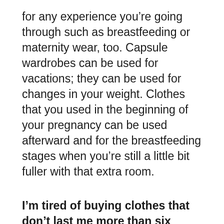for any experience you’re going through such as breastfeeding or maternity wear, too. Capsule wardrobes can be used for vacations; they can be used for changes in your weight. Clothes that you used in the beginning of your pregnancy can be used afterward and for the breastfeeding stages when you’re still a little bit fuller with that extra room.
I’m tired of buying clothes that don’t last me more than six months. Do you have a recommendation for brands that